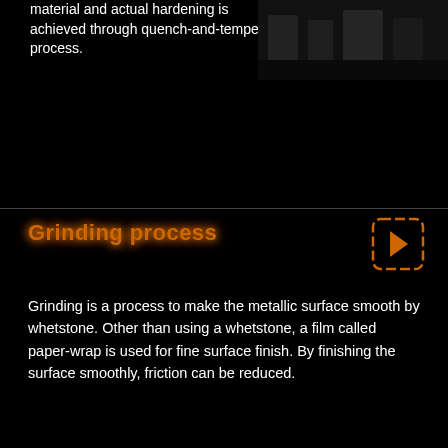material and actual hardening is achieved through quench-and-temper process.
[Figure (photo): Dark image area showing partial view of a metallic or industrial subject, mostly obscured]
Grinding process
Grinding is a process to make the metallic surface smooth by whetstone. Other than using a whetstone, a film called paper-wrap is used for fine surface finish. By finishing the surface smoothly, friction can be reduced.